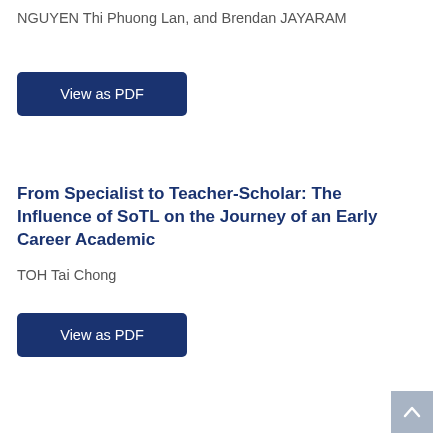NGUYEN Thi Phuong Lan, and Brendan JAYARAM
[Figure (other): Blue 'View as PDF' button]
From Specialist to Teacher-Scholar: The Influence of SoTL on the Journey of an Early Career Academic
TOH Tai Chong
[Figure (other): Blue 'View as PDF' button]
[Figure (other): Back to top arrow button (grey)]